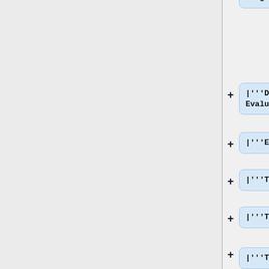class="wikitable" style="text-align: center
|'''Date Evaluated'''
|'''Evaluation'''
|'''Total passes'''
|'''Total fails'''
|'''Total'''
|-
|rowspan="2"|Apr 18, 2021*
|"Analyser"
|55
|24